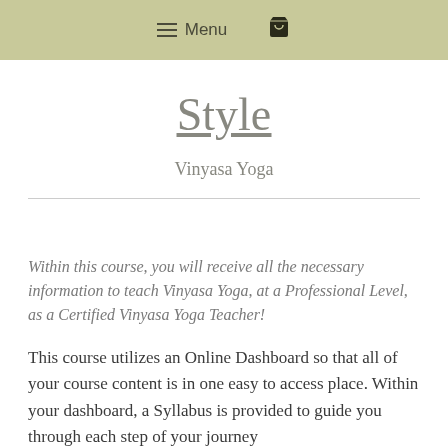Menu
Style
Vinyasa Yoga
Within this course, you will receive all the necessary information to teach Vinyasa Yoga, at a Professional Level, as a Certified Vinyasa Yoga Teacher!
This course utilizes an Online Dashboard so that all of your course content is in one easy to access place. Within your dashboard, a Syllabus is provided to guide you through each step of your journey